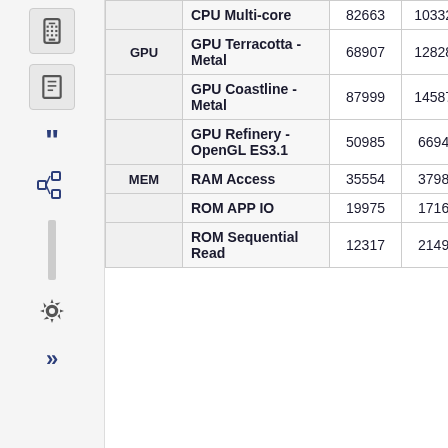| Category | Test | Score 1 | Score 2 | Change |
| --- | --- | --- | --- | --- |
|  | CPU Multi-core | 82663 | 103328 | +25% |
| GPU | GPU Terracotta - Metal | 68907 | 128280 | +86% |
|  | GPU Coastline - Metal | 87999 | 145878 | +66% |
|  | GPU Refinery - OpenGL ES3.1 | 50985 | 66944 | +31% |
| MEM | RAM Access | 35554 | 37980 | +7% |
|  | ROM APP IO | 19975 | 17167 | -14% |
|  | ROM Sequential Read | 12317 | 21496 | +74% |